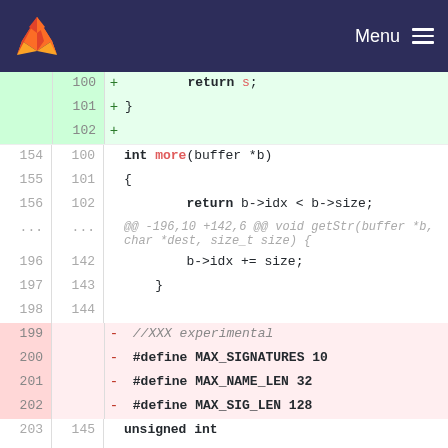GitLab logo | Menu
[Figure (screenshot): GitLab code diff view showing lines 97-204 of a C source file with added (green) and removed (red) lines]
97 + return s;
98 + }
99 +
154 100 int more(buffer *b)
155 101 {
156 102 return b->idx < b->size;
... ... @@ -196,10 +142,6 @@ void getStr(buffer *b, char *dest, size_t size) {
196 142 b->idx += size;
197 143 }
198 144
199 - //XXX experimental
200 - #define MAX_SIGNATURES 10
201 - #define MAX_NAME_LEN 32
202 - #define MAX_SIG_LEN 128
203 145 unsigned int signatures_length[MAX_SIGNATURES];
204 146 unsigned char signatures_name[MAX_SIGNATURES]